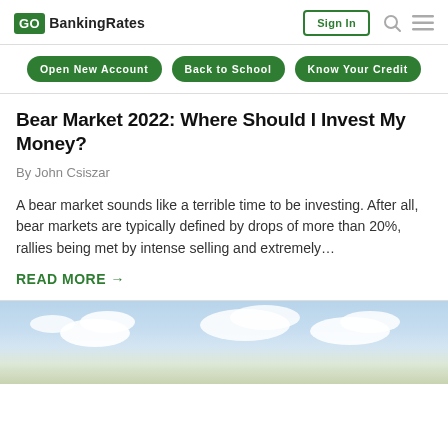GO BankingRates | Sign In
Open New Account | Back to School | Know Your Credit
Bear Market 2022: Where Should I Invest My Money?
By John Csiszar
A bear market sounds like a terrible time to be investing. After all, bear markets are typically defined by drops of more than 20%, rallies being met by intense selling and extremely…
READ MORE →
[Figure (photo): Sky with white clouds against a light blue background, landscape orientation.]